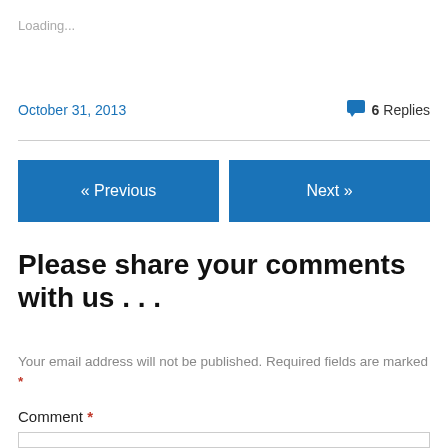Loading...
October 31, 2013
6 Replies
« Previous
Next »
Please share your comments with us . . .
Your email address will not be published. Required fields are marked *
Comment *